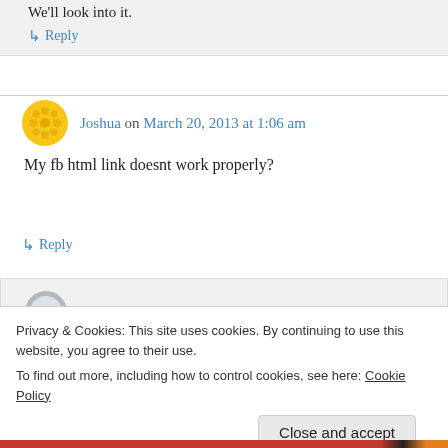We'll look into it.
↳ Reply
Joshua on March 20, 2013 at 1:06 am
My fb html link doesnt work properly?
↳ Reply
youlikehits on March 20, 2013 at 9:47 pm
Privacy & Cookies: This site uses cookies. By continuing to use this website, you agree to their use. To find out more, including how to control cookies, see here: Cookie Policy
Close and accept